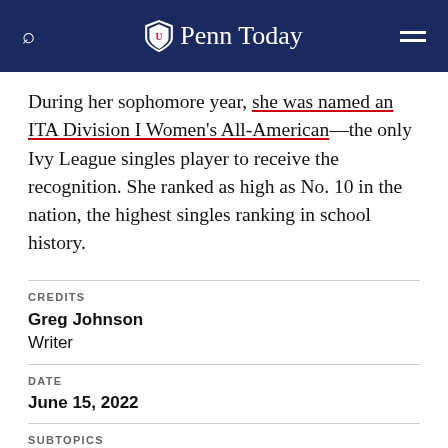Penn Today
During her sophomore year, she was named an ITA Division I Women's All-American—the only Ivy League singles player to receive the recognition. She ranked as high as No. 10 in the nation, the highest singles ranking in school history.
CREDITS
Greg Johnson
Writer
DATE
June 15, 2022
SUBTOPICS